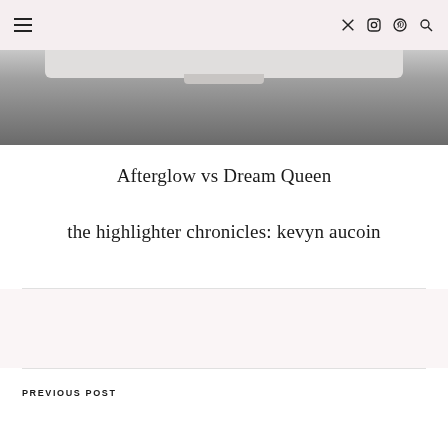≡  𝕏 📷 𝗣 🔍
[Figure (photo): Black and white photo of what appears to be a laptop or tablet bottom edge against a crumpled surface]
Afterglow vs Dream Queen
the highlighter chronicles: kevyn aucoin
PREVIOUS POST